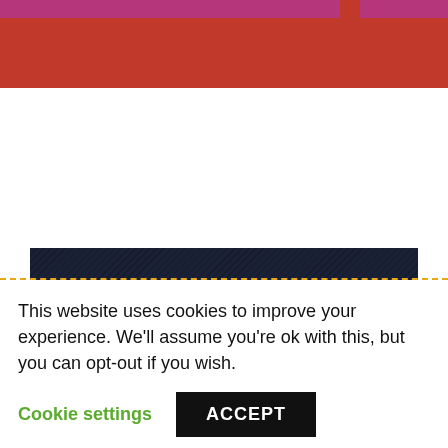[Figure (other): Website header with red background and magenta top strip]
Privacy
If you enter your details on this website, The Liberal Democrats will use your contact details to send you information on the topics you have requested. Any data we gather will be used in accordance with our privacy policy at www.canterburylibdems.org/privacy-policy.
This website uses cookies to improve your experience. We'll assume you're ok with this, but you can opt-out if you wish.
Cookie settings
ACCEPT